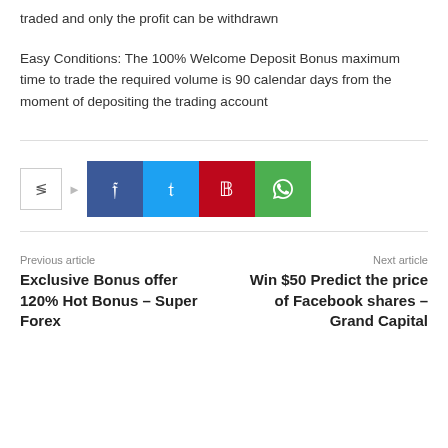traded and only the profit can be withdrawn
Easy Conditions: The 100% Welcome Deposit Bonus maximum time to trade the required volume is 90 calendar days from the moment of depositing the trading account
[Figure (other): Social share buttons row: share icon box with arrow, followed by Facebook (blue), Twitter (cyan), Pinterest (red), WhatsApp (green) buttons]
Previous article
Exclusive Bonus offer 120% Hot Bonus – Super Forex
Next article
Win $50 Predict the price of Facebook shares – Grand Capital